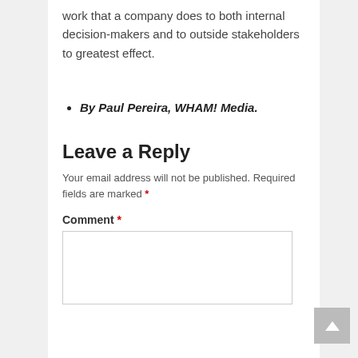work that a company does to both internal decision-makers and to outside stakeholders to greatest effect.
By Paul Pereira, WHAM! Media.
Leave a Reply
Your email address will not be published. Required fields are marked *
Comment *